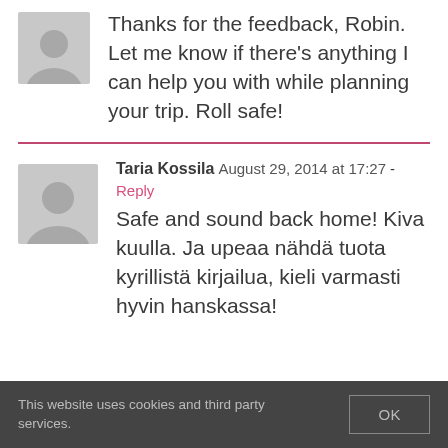Thanks for the feedback, Robin. Let me know if there's anything I can help you with while planning your trip. Roll safe!
Taria Kossila  August 29, 2014 at 17:27 - Reply
Safe and sound back home! Kiva kuulla. Ja upeaa nähdä tuota kyrillistä kirjailua, kieli varmasti hyvin hanskassa!
This website uses cookies and third party services. OK